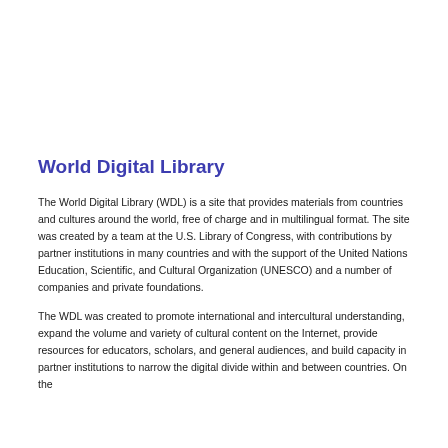World Digital Library
The World Digital Library (WDL) is a site that provides materials from countries and cultures around the world, free of charge and in multilingual format. The site was created by a team at the U.S. Library of Congress, with contributions by partner institutions in many countries and with the support of the United Nations Education, Scientific, and Cultural Organization (UNESCO) and a number of companies and private foundations.
The WDL was created to promote international and intercultural understanding, expand the volume and variety of cultural content on the Internet, provide resources for educators, scholars, and general audiences, and build capacity in partner institutions to narrow the digital divide within and between countries. On the